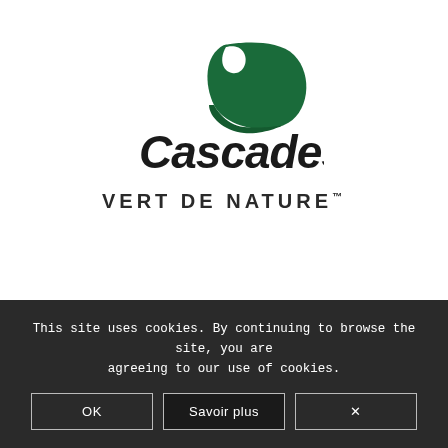[Figure (logo): Cascades company logo with a green rolled paper/leaf icon above the bold italic text 'Cascades']
VERT DE NATURE™
This site uses cookies. By continuing to browse the site, you are agreeing to our use of cookies.
OK | Savoir plus | ×